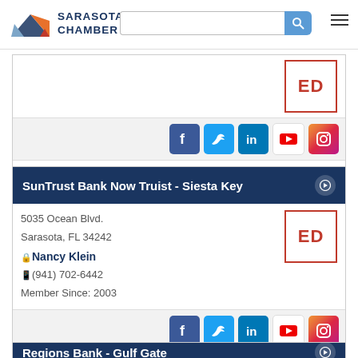Sarasota Chamber - header with logo, search bar, hamburger menu
[Figure (screenshot): Social media icons row: Facebook, Twitter, LinkedIn, YouTube, Instagram]
Learn More | Visit Site | View on Google Maps
SunTrust Bank Now Truist - Siesta Key
5035 Ocean Blvd.
Sarasota, FL 34242
Nancy Klein
(941) 702-6442
Member Since: 2003
[Figure (screenshot): Social media icons row: Facebook, Twitter, LinkedIn, YouTube, Instagram]
Learn More | Visit Site | View on Google Maps
Regions Bank - Gulf Gate